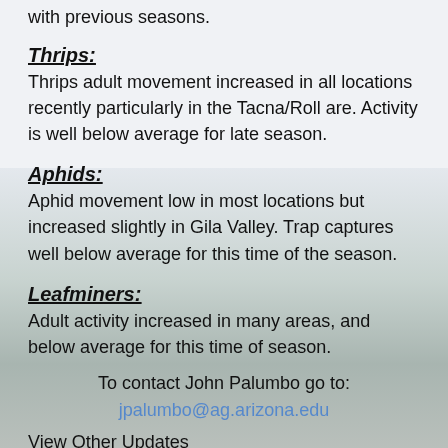with previous seasons.
Thrips:
Thrips adult movement increased in all locations recently particularly in the Tacna/Roll are. Activity is well below average for late season.
Aphids:
Aphid movement low in most locations but increased slightly in Gila Valley. Trap captures well below average for this time of the season.
Leafminers:
Adult activity increased in many areas, and below average for this time of season.
To contact John Palumbo go to:
jpalumbo@ag.arizona.edu
View Other Updates